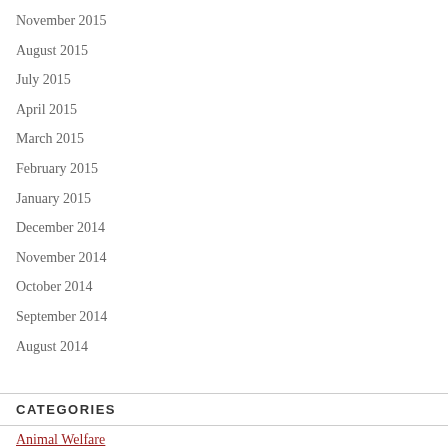November 2015
August 2015
July 2015
April 2015
March 2015
February 2015
January 2015
December 2014
November 2014
October 2014
September 2014
August 2014
CATEGORIES
Animal Welfare